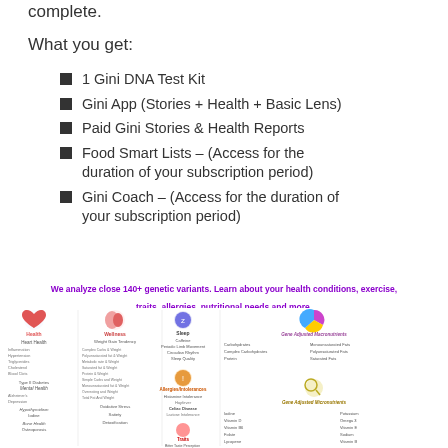complete.
What you get:
1 Gini DNA Test Kit
Gini App (Stories + Health + Basic Lens)
Paid Gini Stories & Health Reports
Food Smart Lists – (Access for the duration of your subscription period)
Gini Coach – (Access for the duration of your subscription period)
We analyze close 140+ genetic variants. Learn about your health conditions, exercise, traits, allergies, nutritional needs and more.
[Figure (infographic): Infographic showing genetic health analysis categories: Health (Heart Health, Inflammation, Hypertension, Triglycerides, Cholesterol, Blood Clots, Type II Diabetes, Mental Health, Alzheimer's, Depression, Hypothyroidism, Iodine, Bone Health, Osteoporosis), Wellness (Weight Gain Tendency, Complex Carbs & Weight, Polyunsaturated fat & Weight, Metabolic rate & Weight, Saturated fat & Weight, Protein & Weight, Simple Carbs and Weight, Monounsaturated fat & Weight, Overeating and Weight, Total Fat And Weight, Oxidative Stress, Satiety, Detoxification), Sleep (Caffeine, Periodic Limb Movement, Circadian Rhythm, Sleep Quality), Allergies/Intolerances (Histamine Intolerance, Hayfever, Celiac Disease, Lactose Intolerance), Traits (Bitter Taste Perception), Gene Adjusted Macronutrients (Carbohydrates, Complex Carbohydrates, Protein, Monounsaturated Fats, Polyunsaturated Fats, Saturated Fats), Gene Adjusted Micronutrients (Iodine, Vitamin D, Vitamin B6, Folate, Lycopene, Potassium, Omega 3, Vitamin E, Sodium, Vitamin B)]